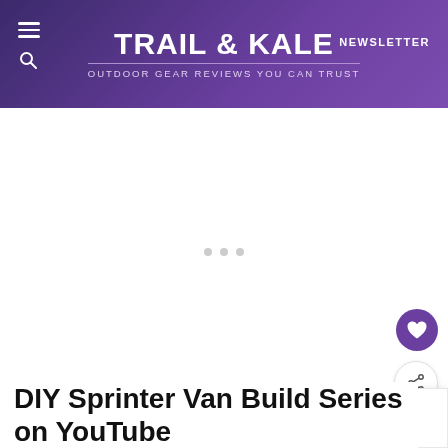TRAIL & KALE — OUTDOOR GEAR REVIEWS YOU CAN TRUST
GEAR REVIEWS | BUYER'S GUIDES | GIFT IDEAS
[Figure (screenshot): Loading placeholder with three grey dots centered in white content area]
DIY Sprinter Van Build Series on YouTube